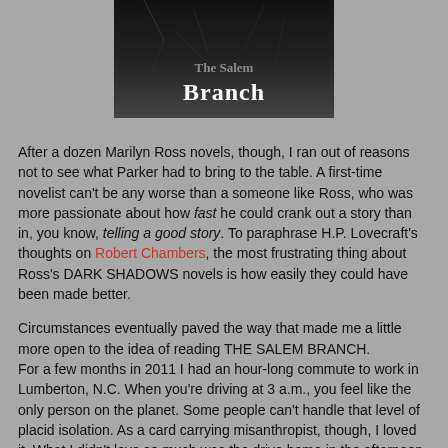[Figure (illustration): Top portion of a book cover showing dark cracked texture background with the text 'Branch' visible in white serif font at the bottom of the image area.]
After a dozen Marilyn Ross novels, though, I ran out of reasons not to see what Parker had to bring to the table. A first-time novelist can't be any worse than a someone like Ross, who was more passionate about how fast he could crank out a story than in, you know, telling a good story. To paraphrase H.P. Lovecraft's thoughts on Robert Chambers, the most frustrating thing about Ross's DARK SHADOWS novels is how easily they could have been made better.
Circumstances eventually paved the way that made me a little more open to the idea of reading THE SALEM BRANCH.
For a few months in 2011 I had an hour-long commute to work in Lumberton, N.C. When you're driving at 3 a.m., you feel like the only person on the planet. Some people can't handle that level of placid isolation. As a card carrying misanthropist, though, I loved it. What I didn't love so much was the drive home in the afternoon. It was hot as hell and the traffic was bumper to bumper on the interstate at 80